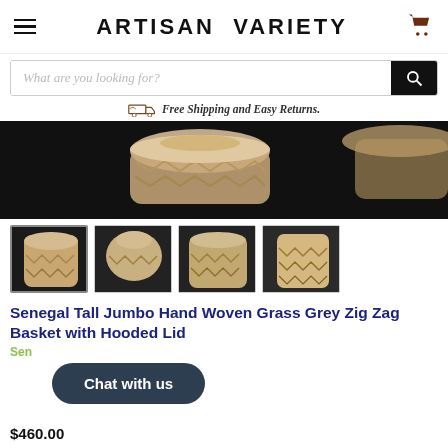ARTISAN VARIETY
What are you looking for?
Free Shipping and Easy Returns.
[Figure (photo): Main product photo of woven grass basket with zig zag pattern on dark background]
[Figure (photo): Four thumbnail images of Senegal Tall Jumbo Hand Woven Grass Grey Zig Zag Basket with Hooded Lid]
Senegal Tall Jumbo Hand Woven Grass Grey Zig Zag Basket with Hooded Lid
Senegal
Chat with us
$460.00